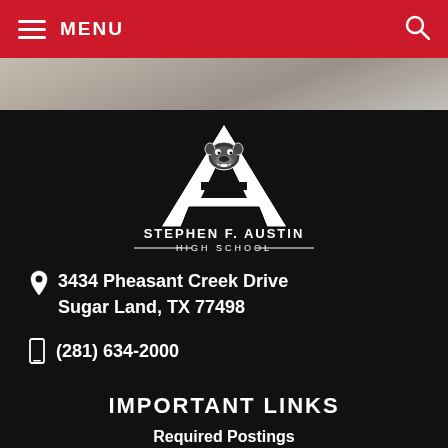MENU
[Figure (logo): Stephen F. Austin High School logo with bulldog mascot inside a large letter A, with text STEPHEN F. AUSTIN HIGH SCHOOL below]
3434 Pheasant Creek Drive Sugar Land, TX 77498
(281) 634-2000
IMPORTANT LINKS
Required Postings